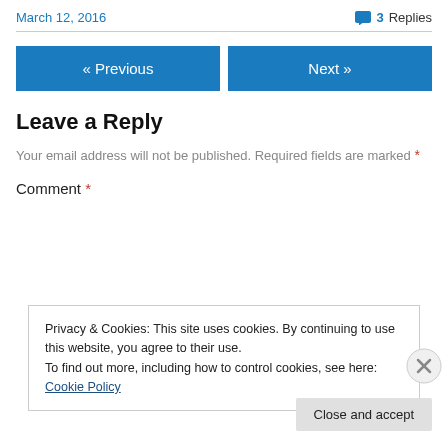March 12, 2016
3 Replies
« Previous
Next »
Leave a Reply
Your email address will not be published. Required fields are marked *
Comment *
Privacy & Cookies: This site uses cookies. By continuing to use this website, you agree to their use.
To find out more, including how to control cookies, see here: Cookie Policy
Close and accept